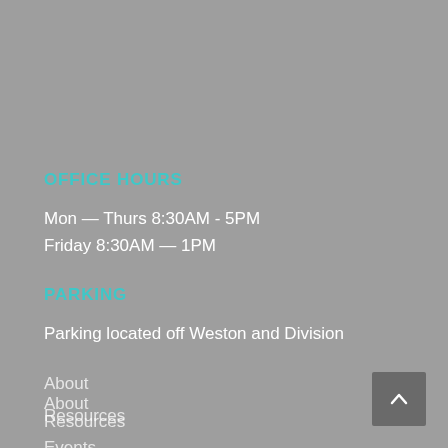OFFICE HOURS
Mon — Thurs 8:30AM - 5PM
Friday 8:30AM — 1PM
PARKING
Parking located off Weston and Division
About
Resources
Events
Contact
Client Spotlights